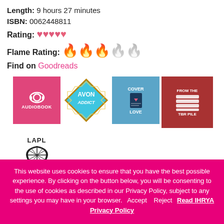Length: 9 hours 27 minutes
ISBN: 0062448811
Rating: ♥♥♥♥♥ (heart emojis)
Flame Rating: 🔥🔥🔥 (3 flames colored, 2 gray)
Find on Goodreads
[Figure (infographic): Grid of book-related badges: Audiobook, Avon Addict, Cover Love, From the TBR Pile, LAPL, Must Read, Romance]
This website uses cookies to ensure that you have the best possible experience. By clicking on the button below, you will be consenting to the use of cookies as described in our Privacy Policy, subject to any settings you may have in your browser. Accept Reject Read IHRYA Privacy Policy